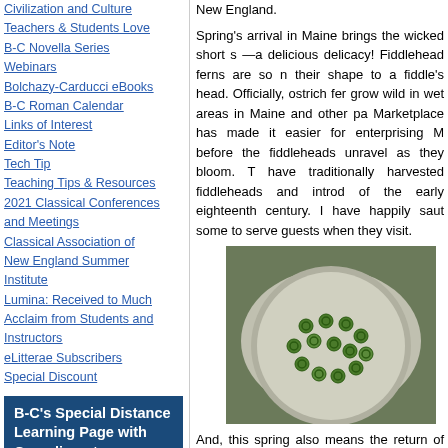Civilization and Culture
Teachers & Students Love
B-C Novella Series
Webinars
Bolchazy-Carducci eBooks
B-C Roman Calendar
Links of Interest
Editor's Note
Tech Tip
Teaching Tips & Resources
2021 Classical Conferences and Meetings
Classical Association of New England Summer Institute
Lumina: Received to Much Acclaim from Students and Instructors
eLitterae Subscribers Special Discount
B-C's Special Distance Learning Page with Complimentary Materials
In response to school closures due to COVID-19, Bolchazy-
New England.

Spring's arrival in Maine brings the wicked short s—a delicious delicacy! Fiddlehead ferns are so named for their shape to a fiddle's head. Officially, ostrich fer grow wild in wet areas in Maine and other pa Marketplace has made it easier for enterprising M before the fiddleheads unravel as they bloom. T have traditionally harvested fiddleheads and introd of the early eighteenth century. I have happily saut some to serve guests when they visit.
[Figure (photo): A pan filled with green fiddlehead ferns being sauteed]
And, this spring also means the return of the caco hibernation. To celebrate their arrival, consider sha the Greco-Roman world from Atlas Obscura. I d this image when I shared it in the March 2021 iss another chuckle!
[Figure (photo): A dark photograph at the bottom right]